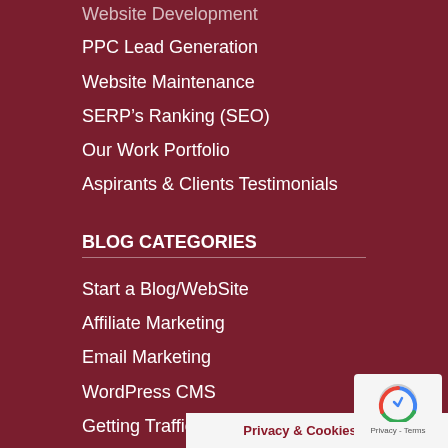Website Development
PPC Lead Generation
Website Maintenance
SERP’s Ranking (SEO)
Our Work Portfolio
Aspirants & Clients Testimonials
BLOG CATEGORIES
Start a Blog/WebSite
Affiliate Marketing
Email Marketing
WordPress CMS
Getting Traffic
Social Media Marketing
Freelancing
Privacy & Cookies Policy
[Figure (other): reCAPTCHA badge with Privacy and Terms text]